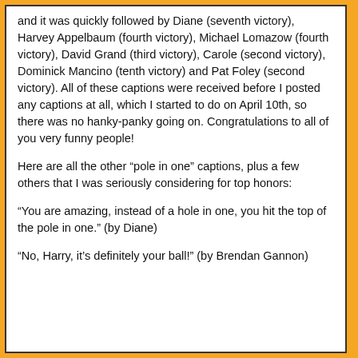and it was quickly followed by Diane (seventh victory), Harvey Appelbaum (fourth victory), Michael Lomazow (fourth victory), David Grand (third victory), Carole (second victory), Dominick Mancino (tenth victory) and Pat Foley (second victory). All of these captions were received before I posted any captions at all, which I started to do on April 10th, so there was no hanky-panky going on. Congratulations to all of you very funny people!
Here are all the other “pole in one” captions, plus a few others that I was seriously considering for top honors:
“You are amazing, instead of a hole in one, you hit the top of the pole in one.” (by Diane)
“No, Harry, it’s definitely your ball!” (by Brendan Gannon)